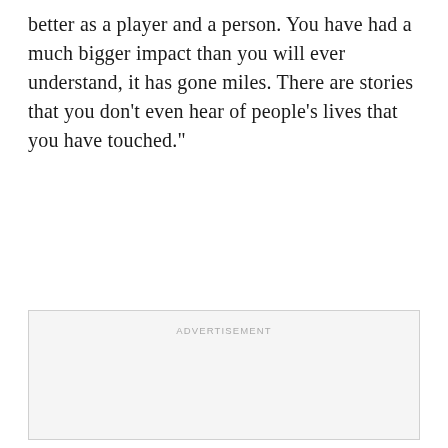better as a player and a person. You have had a much bigger impact than you will ever understand, it has gone miles. There are stories that you don't even hear of people's lives that you have touched."
[Figure (other): Advertisement placeholder box with 'ADVERTISEMENT' label at top center]